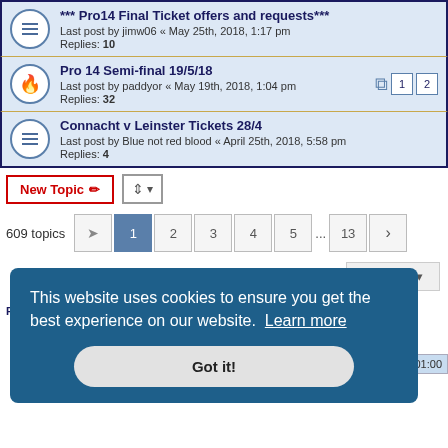*** Pro14 Final Ticket offers and requests*** — Last post by jimw06 « May 25th, 2018, 1:17 pm — Replies: 10
Pro 14 Semi-final 19/5/18 — Last post by paddyor « May 19th, 2018, 1:04 pm — Replies: 32
Connacht v Leinster Tickets 28/4 — Last post by Blue not red blood « April 25th, 2018, 5:58 pm — Replies: 4
New Topic  [sort button]  609 topics  1 2 3 4 5 ... 13 >
Jump to
FORUM PERMISSIONS
This website uses cookies to ensure you get the best experience on our website. Learn more
Got it!
UTC+01:00